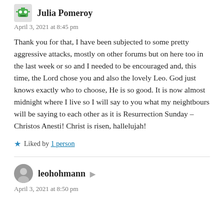Julia Pomeroy
April 3, 2021 at 8:45 pm
Thank you for that, I have been subjected to some pretty aggressive attacks, mostly on other forums but on here too in the last week or so and I needed to be encouraged and, this time, the Lord chose you and also the lovely Leo. God just knows exactly who to choose, He is so good. It is now almost midnight where I live so I will say to you what my neightbours will be saying to each other as it is Resurrection Sunday – Christos Anesti! Christ is risen, hallelujah!
Liked by 1 person
leohohmann
April 3, 2021 at 8:50 pm